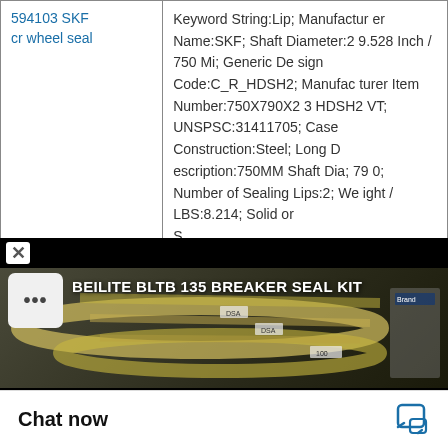| Product | Specifications |
| --- | --- |
| 594103 SKF cr wheel seal | Keyword String:Lip; Manufacturer Name:SKF; Shaft Diameter:29.528 Inch / 750 Mi; Generic Design Code:C_R_HDSH2; Manufacturer Item Number:750X790X23 HDSH2 VT; UNSPSC:31411705; Case Construction:Steel; Long Description:750MM Shaft Dia; 790; Number of Sealing Lips:2; Weight / LBS:8.214; Solid or S |
[Figure (screenshot): WhatsApp Online floating button with green phone icon and italic bold text 'WhatsApp Online']
[Figure (screenshot): Bottom chat widget overlay showing close button, video thumbnail with yellow seals/gaskets, title 'BEILITE BLTB 135 BREAKER SEAL KIT', a dots menu button, and a 'Chat now' bar with chat icon]